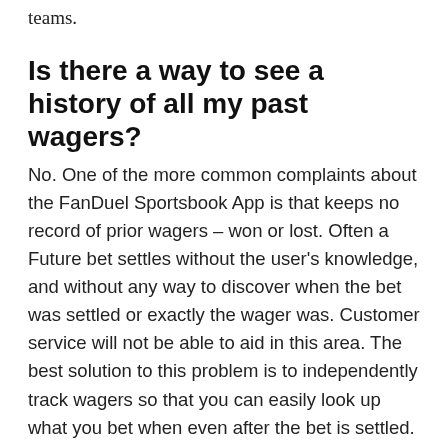teams.
Is there a way to see a history of all my past wagers?
No. One of the more common complaints about the FanDuel Sportsbook App is that keeps no record of prior wagers – won or lost. Often a Future bet settles without the user's knowledge, and without any way to discover when the bet was settled or exactly the wager was. Customer service will not be able to aid in this area. The best solution to this problem is to independently track wagers so that you can easily look up what you bet when even after the bet is settled.